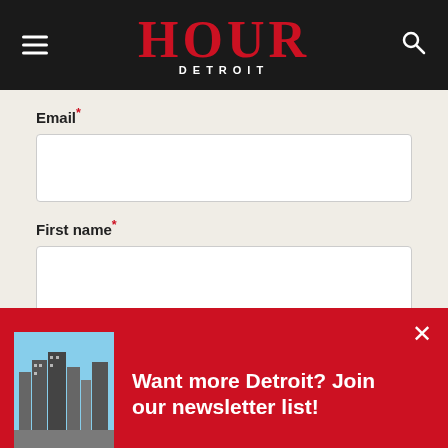HOUR DETROIT
Email*
First name*
[Figure (screenshot): Red popup banner with city photo thumbnail on the left and text 'Want more Detroit? Join our newsletter list!' on the right with close button]
[Figure (screenshot): Tally advertisement banner: 'Fast credit card payoff' with Download Now button]